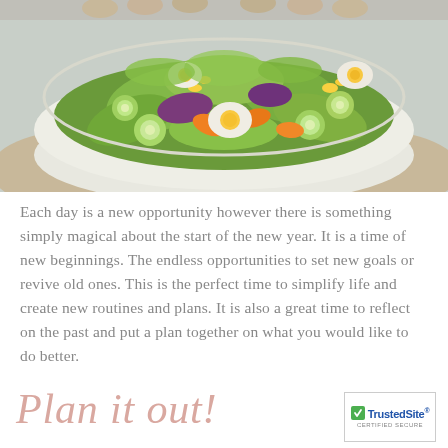[Figure (photo): Two hands holding a large bowl filled with a fresh salad containing sliced cucumbers, boiled egg halves, orange carrot pieces, purple cabbage, corn, and various green lettuce leaves. The background is a muted grey-blue.]
Each day is a new opportunity however there is something simply magical about the start of the new year.  It is a time of new beginnings.  The endless opportunities to set new goals or revive old ones.  This is the perfect time to simplify life and create new routines and plans.  It is also a great time to reflect on the past and put a plan together on what you would like to do better.
Plan it out!
[Figure (logo): TrustedSite Certified Secure badge with green checkmark and blue TrustedSite text]